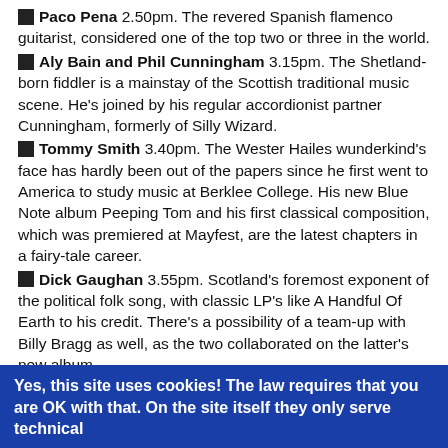Paco Pena 2.50pm. The revered Spanish flamenco guitarist, considered one of the top two or three in the world.
Aly Bain and Phil Cunningham 3.15pm. The Shetland-born fiddler is a mainstay of the Scottish traditional music scene. He's joined by his regular accordionist partner Cunningham, formerly of Silly Wizard.
Tommy Smith 3.40pm. The Wester Hailes wunderkind's face has hardly been out of the papers since he first went to America to study music at Berklee College. His new Blue Note album Peeping Tom and his first classical composition, which was premiered at Mayfest, are the latest chapters in a fairy-tale career.
Dick Gaughan 3.55pm. Scotland's foremost exponent of the political folk song, with classic LP's like A Handful Of Earth to his credit. There's a possibility of a team-up with Billy Bragg as well, as the two collaborated on the latter's new album.
SCO Quartet 4.10pm. Founded in 1974, the Scottish Chamber Orchestra are much in demand at home and abroad. While the rest of them are taking a breather between finishing The Martyrdom of St Magnus at The Tramway and playing at
Yes, this site uses cookies! The law requires that you are OK with that. On the site itself they only serve technical